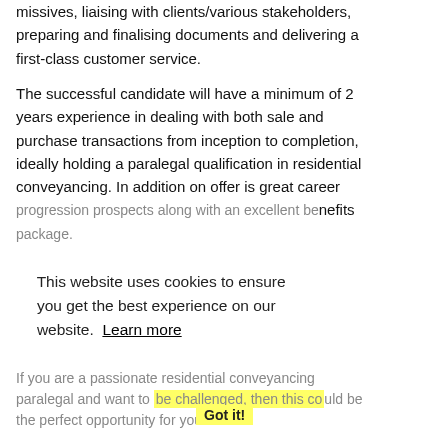missives, liaising with clients/various stakeholders, preparing and finalising documents and delivering a first-class customer service.
The successful candidate will have a minimum of 2 years experience in dealing with both sale and purchase transactions from inception to completion, ideally holding a paralegal qualification in residential conveyancing. In addition on offer is great career progression prospects along with an excellent benefits package.
This website uses cookies to ensure you get the best experience on our website. Learn more
If you are a passionate residential conveyancing paralegal and want to be challenged, then this could be the perfect opportunity for you.
Got it!